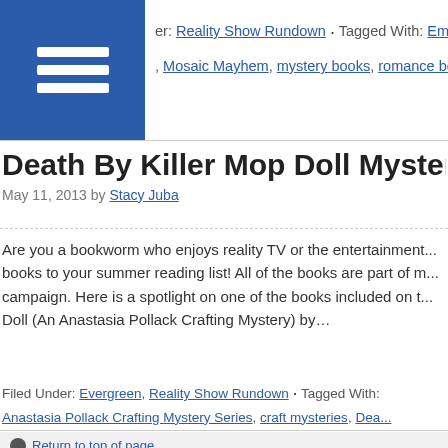Filed Under: Reality Show Rundown · Tagged With: Emma Car..., Mosaic Mayhem, mystery books, romance books, T...
Death By Killer Mop Doll Mystery @Anasle...
May 11, 2013 by Stacy Juba
Are you a bookworm who enjoys reality TV or the entertainment... books to your summer reading list! All of the books are part of m... campaign. Here is a spotlight on one of the books included on t... Doll (An Anastasia Pollack Crafting Mystery) by…
Filed Under: Evergreen, Reality Show Rundown · Tagged With: Anastasia Pollack Crafting Mystery Series, craft mysteries, Dea... Winston, mystery novels, mystery series, television in fiction
Return to top of page